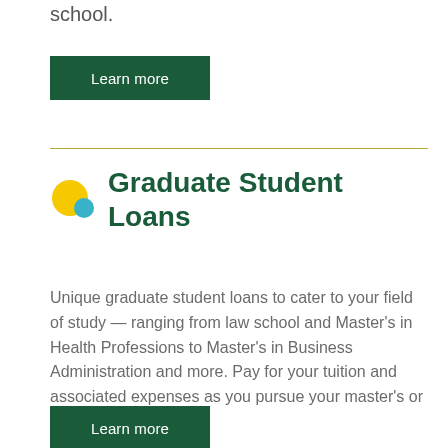school.
Learn more
Graduate Student Loans
Unique graduate student loans to cater to your field of study — ranging from law school and Master's in Health Professions to Master's in Business Administration and more. Pay for your tuition and associated expenses as you pursue your master's or doctoral degree.
Learn more